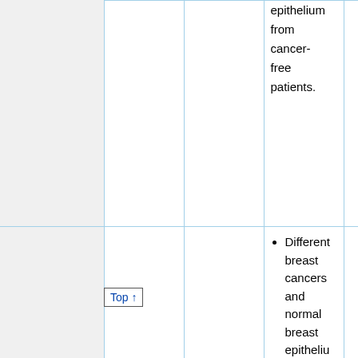|  | Gene | Function | Key Findings |  |
| --- | --- | --- | --- | --- |
|  |  |  | epithelium from cancer-free patients. |  |
|  | SF3A1[14] | Splicing factor 3 subunit 1 | • Different breast cancers and normal breast epithelium from breast cancer patients and epithelium from cancer-free patients. | N |
Top ↑